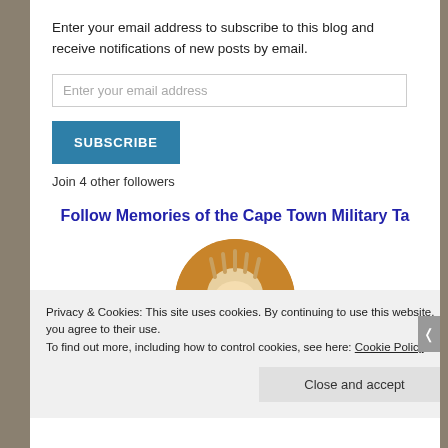Enter your email address to subscribe to this blog and receive notifications of new posts by email.
Enter your email address
SUBSCRIBE
Join 4 other followers
Follow Memories of the Cape Town Military Ta
[Figure (photo): Circular avatar image showing a cartoon or toy character with spiky hair and a colorful outfit, on an orange/brown background.]
Privacy & Cookies: This site uses cookies. By continuing to use this website, you agree to their use. To find out more, including how to control cookies, see here: Cookie Policy
Close and accept